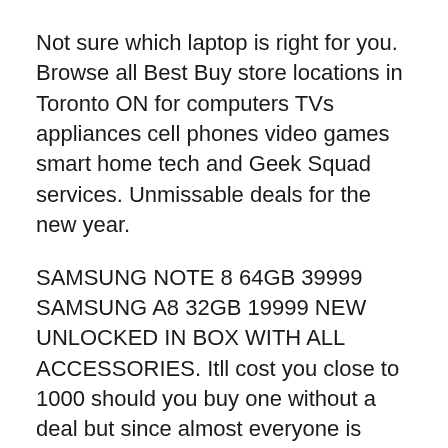Not sure which laptop is right for you. Browse all Best Buy store locations in Toronto ON for computers TVs appliances cell phones video games smart home tech and Geek Squad services. Unmissable deals for the new year.
SAMSUNG NOTE 8 64GB 39999 SAMSUNG A8 32GB 19999 NEW UNLOCKED IN BOX WITH ALL ACCESSORIES. Itll cost you close to 1000 should you buy one without a deal but since almost everyone is hosting some sort of Galaxy Note 8 deal youll get you the new S Pen-powered phone from Samsung. Sign up to stay in the loop about the hottest deals coolest new products and exclusive sales events.